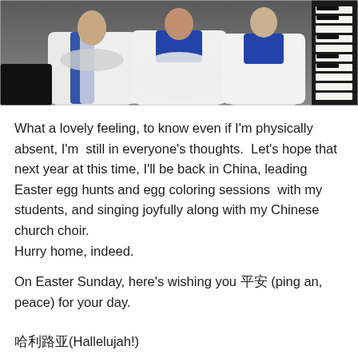[Figure (photo): Photograph of choir members wearing white robes with blue accents, standing in front of a piano on the right side. The setting appears to be a church.]
What a lovely feeling, to know even if I'm physically absent, I'm  still in everyone's thoughts.  Let's hope that next year at this time, I'll be back in China, leading Easter egg hunts and egg coloring sessions  with my students, and singing joyfully along with my Chinese church choir.
Hurry home, indeed.
On Easter Sunday, here's wishing you 平安 (ping an, peace) for your day.
哈利路亚(Hallelujah!)